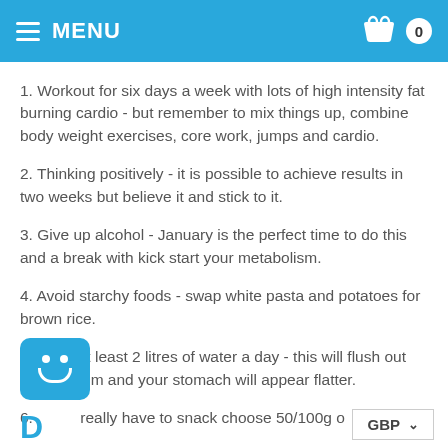MENU  0
1. Workout for six days a week with lots of high intensity fat burning cardio - but remember to mix things up, combine body weight exercises, core work, jumps and cardio.
2. Thinking positively - it is possible to achieve results in two weeks but believe it and stick to it.
3. Give up alcohol - January is the perfect time to do this and a break with kick start your metabolism.
4. Avoid starchy foods - swap white pasta and potatoes for brown rice.
5. Drink at least 2 litres of water a day - this will flush out your system and your stomach will appear flatter.
6. If you really have to snack choose 50/100g o
GBP